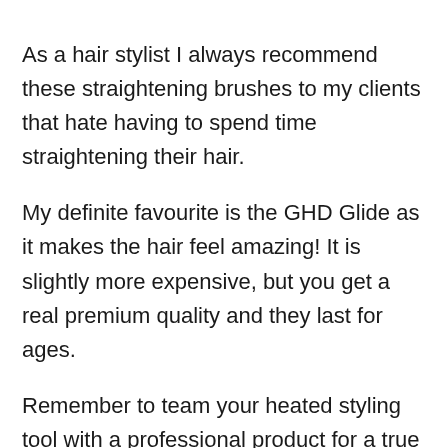As a hair stylist I always recommend these straightening brushes to my clients that hate having to spend time straightening their hair.
My definite favourite is the GHD Glide as it makes the hair feel amazing! It is slightly more expensive, but you get a real premium quality and they last for ages.
Remember to team your heated styling tool with a professional product for a true salon worthy finish.
This product will change your life if you use it with